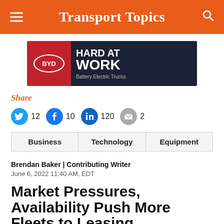Transport Topics
[Figure (illustration): BYD advertisement banner: red left panel with BYD oval logo, dark right panel with trucks and text 'HARD AT WORK Battery Electric Trucks']
Share
12  10  120  2
Business  Technology  Equipment
Brendan Baker | Contributing Writer
June 6, 2022 11:40 AM, EDT
Market Pressures, Availability Push More Fleets to Leasing